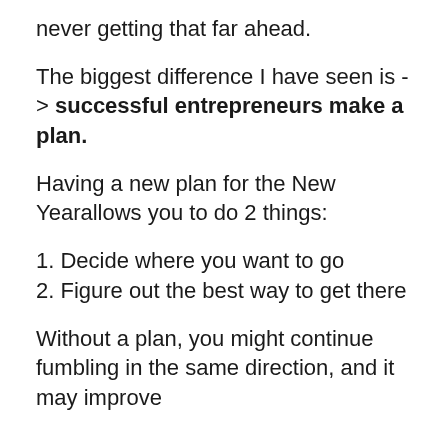never getting that far ahead.
The biggest difference I have seen is -> successful entrepreneurs make a plan.
Having a new plan for the New Yearallows you to do 2 things:
1. Decide where you want to go
2. Figure out the best way to get there
Without a plan, you might continue fumbling in the same direction, and it may improve